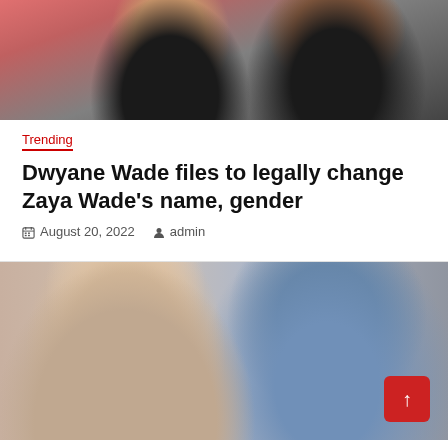[Figure (photo): Two people photographed together, one in a patterned outfit with a silver necklace, another in a dark top, against a pink/red background]
Trending
Dwyane Wade files to legally change Zaya Wade’s name, gender
August 20, 2022   admin
[Figure (photo): A woman with blonde hair on the left and a man in a blue shirt and tie on the right, appearing to be in a TV studio or church setting]